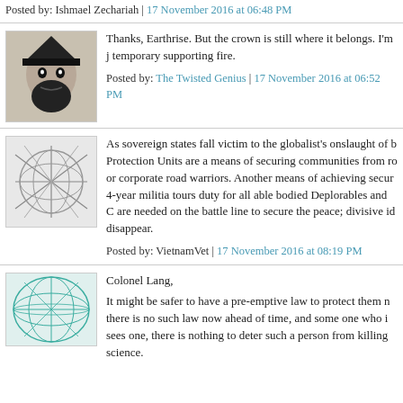Posted by: Ishmael Zechariah | 17 November 2016 at 06:48 PM
Thanks, Earthrise. But the crown is still where it belongs. I'm j temporary supporting fire.
Posted by: The Twisted Genius | 17 November 2016 at 06:52 PM
As sovereign states fall victim to the globalist's onslaught of b Protection Units are a means of securing communities from ro or corporate road warriors. Another means of achieving secur 4-year militia tours duty for all able bodied Deplorables and C are needed on the battle line to secure the peace; divisive id disappear.
Posted by: VietnamVet | 17 November 2016 at 08:19 PM
Colonel Lang,
It might be safer to have a pre-emptive law to protect them n there is no such law now ahead of time, and some one who i sees one, there is nothing to deter such a person from killing science.